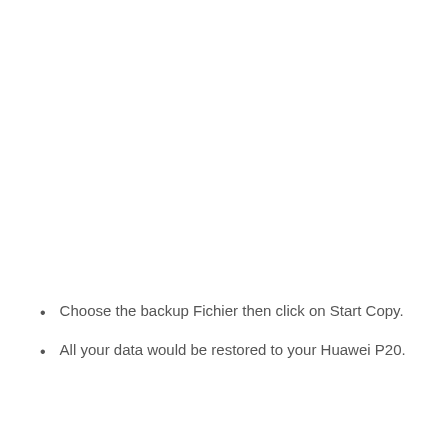Choose the backup Fichier then click on Start Copy.
All your data would be restored to your Huawei P20.